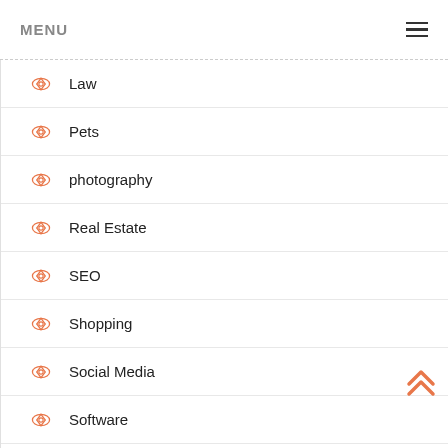MENU
Law
Pets
photography
Real Estate
SEO
Shopping
Social Media
Software
Sports